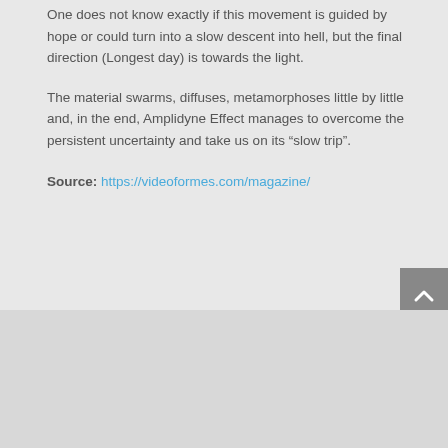One does not know exactly if this movement is guided by hope or could turn into a slow descent into hell, but the final direction (Longest day) is towards the light.
The material swarms, diffuses, metamorphoses little by little and, in the end, Amplidyne Effect manages to overcome the persistent uncertainty and take us on its “slow trip”.
Source: https://videoformes.com/magazine/